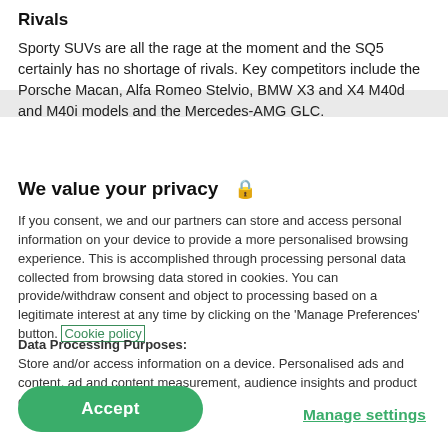Rivals
Sporty SUVs are all the rage at the moment and the SQ5 certainly has no shortage of rivals. Key competitors include the Porsche Macan, Alfa Romeo Stelvio, BMW X3 and X4 M40d and M40i models and the Mercedes-AMG GLC.
We value your privacy 🔒
If you consent, we and our partners can store and access personal information on your device to provide a more personalised browsing experience. This is accomplished through processing personal data collected from browsing data stored in cookies. You can provide/withdraw consent and object to processing based on a legitimate interest at any time by clicking on the 'Manage Preferences' button. Cookie policy
Data Processing Purposes: Store and/or access information on a device. Personalised ads and content, ad and content measurement, audience insights and product development.
List of Partners (vendors)